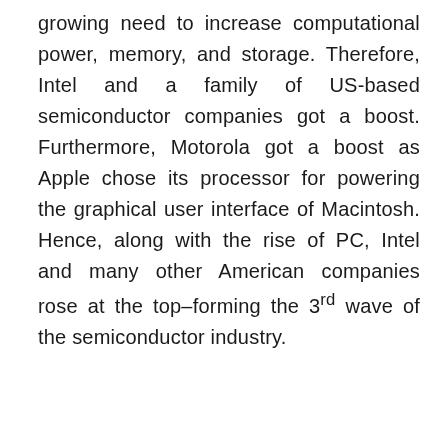growing need to increase computational power, memory, and storage. Therefore, Intel and a family of US-based semiconductor companies got a boost. Furthermore, Motorola got a boost as Apple chose its processor for powering the graphical user interface of Macintosh. Hence, along with the rise of PC, Intel and many other American companies rose at the top–forming the 3rd wave of the semiconductor industry.